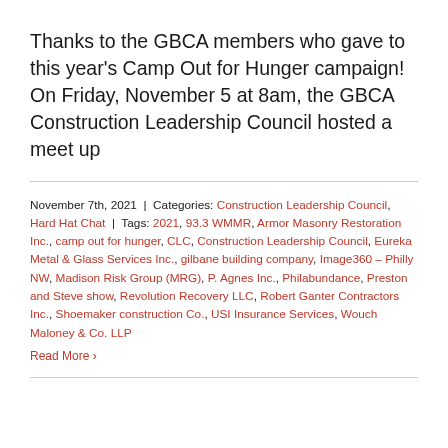Thanks to the GBCA members who gave to this year's Camp Out for Hunger campaign! On Friday, November 5 at 8am, the GBCA Construction Leadership Council hosted a meet up
November 7th, 2021 | Categories: Construction Leadership Council, Hard Hat Chat | Tags: 2021, 93.3 WMMR, Armor Masonry Restoration Inc., camp out for hunger, CLC, Construction Leadership Council, Eureka Metal & Glass Services Inc., gilbane building company, Image360 – Philly NW, Madison Risk Group (MRG), P. Agnes Inc., Philabundance, Preston and Steve show, Revolution Recovery LLC, Robert Ganter Contractors Inc., Shoemaker construction Co., USI Insurance Services, Wouch Maloney & Co. LLP
Read More >